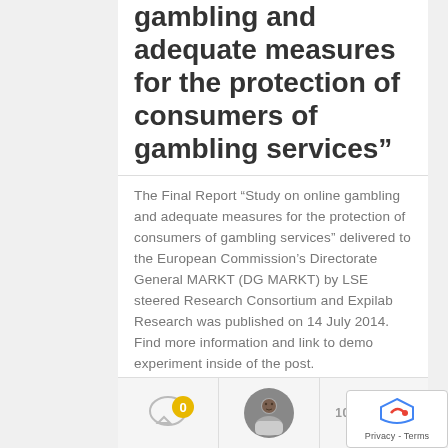gambling and adequate measures for the protection of consumers of gambling services”
The Final Report “Study on online gambling and adequate measures for the protection of consumers of gambling services” delivered to the European Commission’s Directorate General MARKT (DG MARKT) by LSE steered Research Consortium and Expilab Research was published on 14 July 2014. Find more information and link to demo experiment inside of the post.
[Figure (other): Bottom bar with comment count badge (0), author avatar circle, and date stamp '10 AUG 2014']